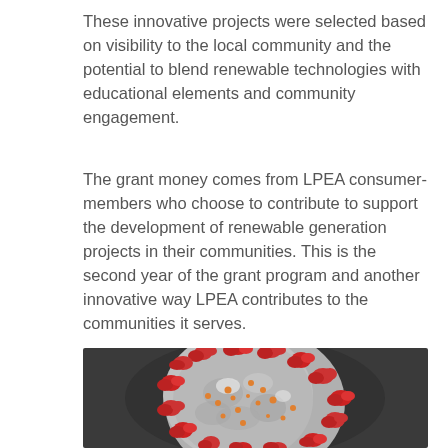These innovative projects were selected based on visibility to the local community and the potential to blend renewable technologies with educational elements and community engagement.
The grant money comes from LPEA consumer-members who choose to contribute to support the development of renewable generation projects in their communities. This is the second year of the grant program and another innovative way LPEA contributes to the communities it serves.
[Figure (photo): Close-up microscopic image of a coronavirus particle, showing the characteristic grey spherical body with red spike proteins and small orange dots on its surface, set against a dark grey background.]